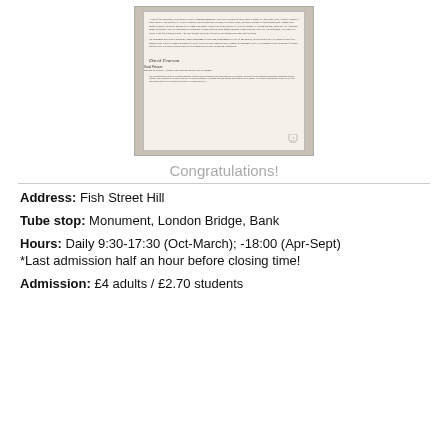[Figure (photo): A framed document/plaque with handwritten signature by David Pearson, Director of Culture, Heritage and Libraries for the City of London.]
Congratulations!
Address: Fish Street Hill
Tube stop: Monument, London Bridge, Bank
Hours: Daily 9:30-17:30 (Oct-March); -18:00 (Apr-Sept)
*Last admission half an hour before closing time!
Admission: £4 adults / £2.70 students